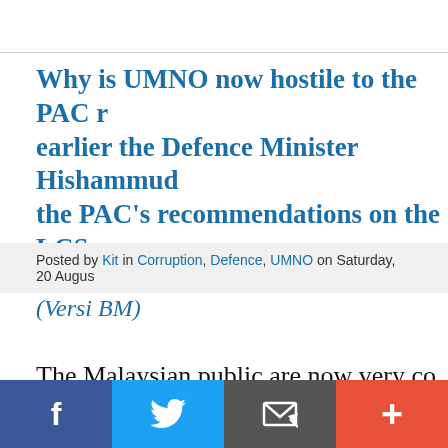Why is UMNO now hostile to the PAC r... earlier the Defence Minister Hishammu... the PAC's recommendations on the LCS...
Posted by Kit in Corruption, Defence, UMNO on Saturday, 20 Augus...
(Versi BM)
The Malaysian public are now very co... Public Accounts Committee (PAC) rep... ship (LCS) scandal when earlier that D...
[Figure (other): Social media share bar with Facebook, Twitter, email, and plus buttons at the bottom of the page]